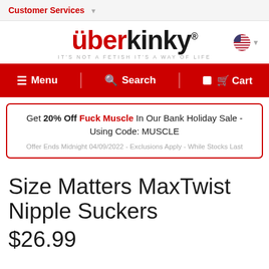Customer Services
[Figure (logo): Uberkinky logo with tagline IT'S NOT A FETISH IT'S A WAY OF LIFE and US flag icon]
Menu  Search  Cart
Get 20% Off Fuck Muscle In Our Bank Holiday Sale - Using Code: MUSCLE
Offer Ends Midnight 04/09/2022 - Exclusions Apply - While Stocks Last
Size Matters MaxTwist Nipple Suckers
$26.99